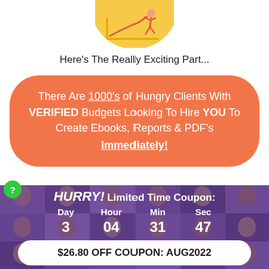[Figure (illustration): Circular yellow illustration showing a person running up a line chart/graph, with chart axes visible]
Here's The Really Exciting Part...
There Are 1000's of Hungry Clients With VERIFIED Budgets Looking To Hire YOU To Create Ebooks, Reports & PDF's Immediately!
[Figure (infographic): Purple background mosaic of human faces with countdown timer showing HURRY! Limited Time Coupon: Day 3, Hour 04, Min 31, Sec 47, and a white coupon button showing $26.80 OFF COUPON: AUG2022]